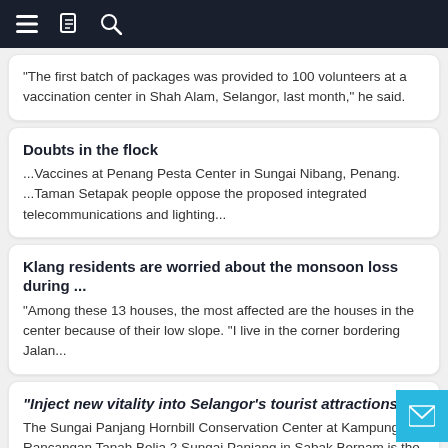Navigation bar with menu, bookmark, and search icons
"The first batch of packages was provided to 100 volunteers at a vaccination center in Shah Alam, Selangor, last month," he said.
Doubts in the flock
...Vaccines at Penang Pesta Center in Sungai Nibang, Penang. ...Taman Setapak people oppose the proposed integrated telecommunications and lighting...
Klang residents are worried about the monsoon loss during ...
"Among these 13 houses, the most affected are the houses in the center because of their low slope. "I live in the corner bordering Jalan...
"Inject new vitality into Selangor's tourist attractions"
The Sungai Panjang Hornbill Conservation Center at Kampung Rancangan Tanah Belia 2 Sungai Panjang in Sabak Bernam is the first case...
River of Opportunity
...Interactive lighting, children's playground, improvement... are the focus of the downtown redevelopment project.